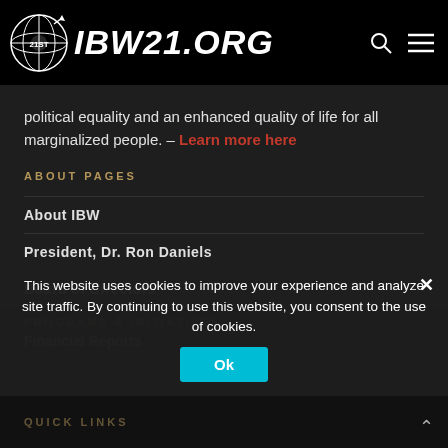IBW21.ORG
political equality and an enhanced quality of life for all marginalized people. – Learn more here
ABOUT PAGES
About IBW
President, Dr. Ron Daniels
Board of Directors
Programs & Initiatives
Financial Reports
QUICK LINKS
This website uses cookies to improve your experience and analyze site traffic. By continuing to use this website, you consent to the use of cookies.